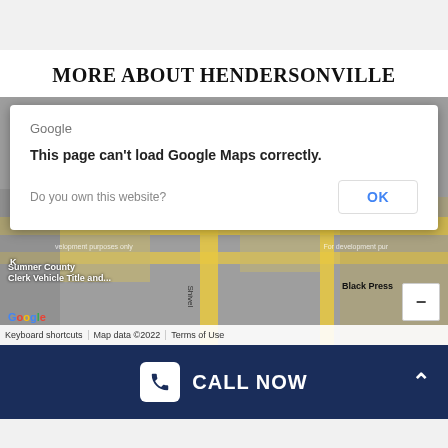MORE ABOUT HENDERSONVILLE
[Figure (screenshot): Google Maps embed showing an error dialog: 'This page can't load Google Maps correctly.' with a 'Do you own this website?' message and an OK button. The background shows a partial street map of Hendersonville/Sumner County area with a Google logo, keyboard shortcuts, map data ©2022, and Terms of Use bar at the bottom.]
CALL NOW